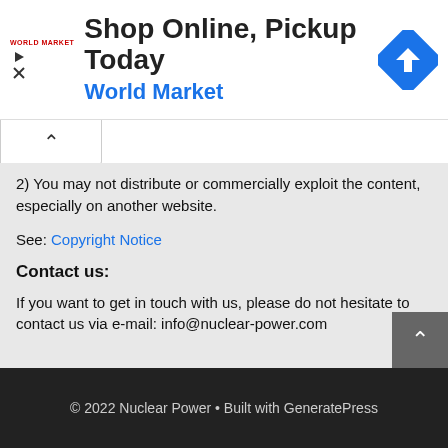[Figure (other): Advertisement banner: Shop Online, Pickup Today - World Market with logo and blue direction sign icon]
2) You may not distribute or commercially exploit the content, especially on another website.
See: Copyright Notice
Contact us:
If you want to get in touch with us, please do not hesitate to contact us via e-mail: info@nuclear-power.com
© 2022 Nuclear Power • Built with GeneratePress